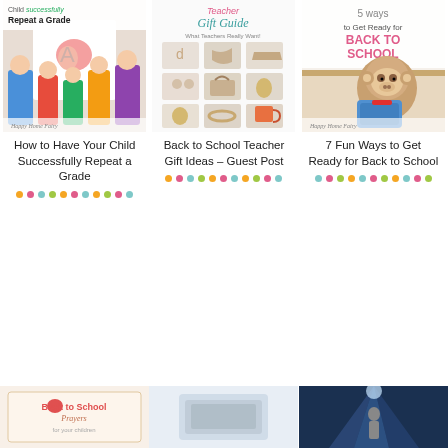[Figure (illustration): Thumbnail image: child holding up drawing with teacher and kids, text 'How to Have Your Child Successfully Repeat a Grade', Happy Home Fairy branding]
[Figure (illustration): Thumbnail image: Teacher Gift Guide collage with accessories and gifts, text 'What Teachers Really Want!']
[Figure (illustration): Thumbnail image: monkey backpack and lunchbox, text '7 Ways to Get Ready for BACK TO SCHOOL', Happy Home Fairy branding]
How to Have Your Child Successfully Repeat a Grade
Back to School Teacher Gift Ideas – Guest Post
7 Fun Ways to Get Ready for Back to School
[Figure (illustration): Bottom row thumbnail 1: Back to school prayers printable]
[Figure (illustration): Bottom row thumbnail 2: Book or notebook image]
[Figure (illustration): Bottom row thumbnail 3: Person at event or presentation, blue/dark background]